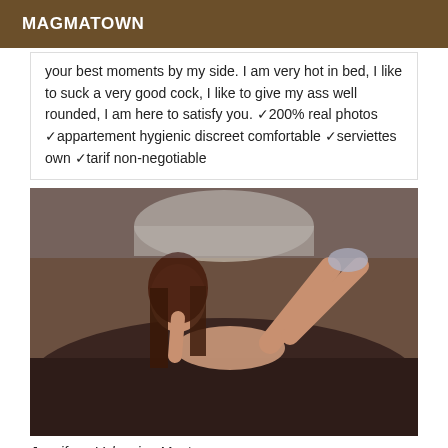MAGMATOWN
your best moments by my side. I am very hot in bed, I like to suck a very good cock, I like to give my ass well rounded, I am here to satisfy you. ✓200% real photos ✓appartement hygienic discreet comfortable ✓serviettes own ✓tarif non-negotiable
[Figure (photo): Woman in white lingerie lying on a dark brown bed, posing with high heel shoes, dark long hair, ornate white headboard visible in background.]
Jennifer... Valencian Mont...